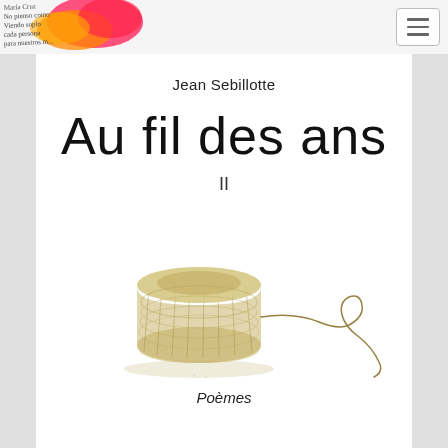[Figure (illustration): Website header with colorful painted/watercolor artwork on left showing handwritten script text over orange/pink/red color blobs, and a hamburger menu button on the right]
Jean Sebillotte
Au fil des ans
II
[Figure (illustration): Pencil/colored pencil sketch of a spool or bobbin of thread/twine with a loose thread trailing off to the right, drawn in warm golden-brown tones on white background]
Poèmes